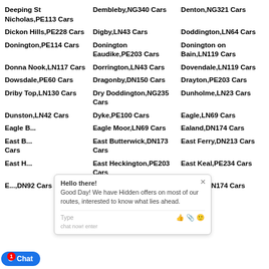Deeping St Nicholas,PE113 Cars
Dembleby,NG340 Cars
Denton,NG321 Cars
Dickon Hills,PE228 Cars
Digby,LN43 Cars
Doddington,LN64 Cars
Donington,PE114 Cars
Donington Eaudike,PE203 Cars
Donington on Bain,LN119 Cars
Donna Nook,LN117 Cars
Dorrington,LN43 Cars
Dovendale,LN119 Cars
Dowsdale,PE60 Cars
Dragonby,DN150 Cars
Drayton,PE203 Cars
Driby Top,LN130 Cars
Dry Doddington,NG235 Cars
Dunholme,LN23 Cars
Dunston,LN42 Cars
Dyke,PE100 Cars
Eagle,LN69 Cars
Eagle Bargate Cars
Eagle Moor,LN69 Cars
Ealand,DN174 Cars
East Butterwick Cars
East Butterwick,DN173 Cars
East Ferry,DN213 Cars
East Heckington Cars
East Heckington,PE203 Cars
East Keal,PE234 Cars
East Marsh,DN327 Cars
Eastoft,DN174 Cars
East,DN92 Cars